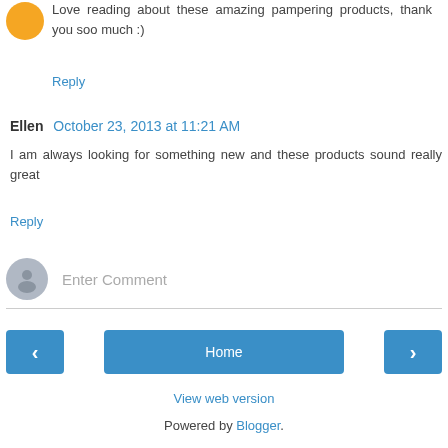Love reading about these amazing pampering products, thank you soo much :)
Reply
Ellen  October 23, 2013 at 11:21 AM
I am always looking for something new and these products sound really great
Reply
[Figure (illustration): Gray avatar placeholder icon for comment input area]
Enter Comment
Home
View web version
Powered by Blogger.